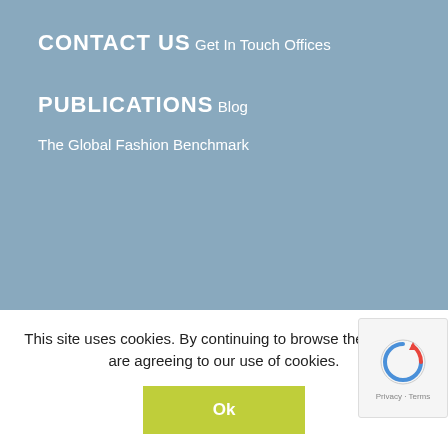CONTACT US
Get In Touch
Offices
PUBLICATIONS
Blog
The Global Fashion Benchmark
This site uses cookies. By continuing to browse the site, you are agreeing to our use of cookies.
Ok